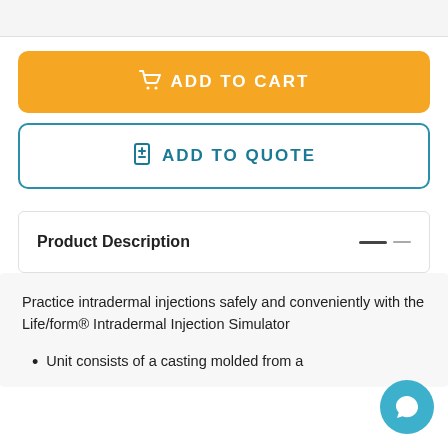[Figure (screenshot): Top grey bar partial UI element]
ADD TO CART
ADD TO QUOTE
Product Description
Practice intradermal injections safely and conveniently with the Life/form® Intradermal Injection Simulator
Unit consists of a casting molded from a